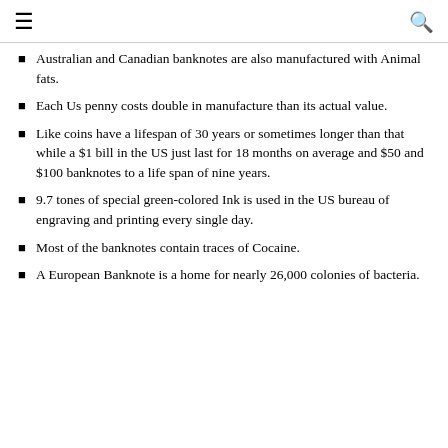≡  🔍
Australian and Canadian banknotes are also manufactured with Animal fats.
Each Us penny costs double in manufacture than its actual value.
Like coins have a lifespan of 30 years or sometimes longer than that while a $1 bill in the US just last for 18 months on average and $50 and $100 banknotes to a life span of nine years.
9.7 tones of special green-colored Ink is used in the US bureau of engraving and printing every single day.
Most of the banknotes contain traces of Cocaine.
A European Banknote is a home for nearly 26,000 colonies of bacteria.